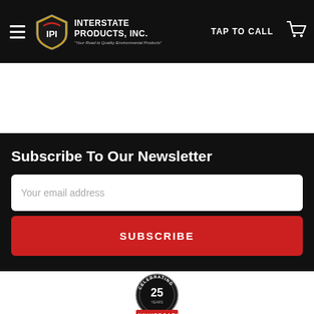Interstate Products, Inc. — TAP TO CALL
Subscribe To Our Newsletter
Your email address
SUBSCRIBE
[Figure (logo): Interstate Products Inc. 25th Anniversary badge/seal at bottom of page]